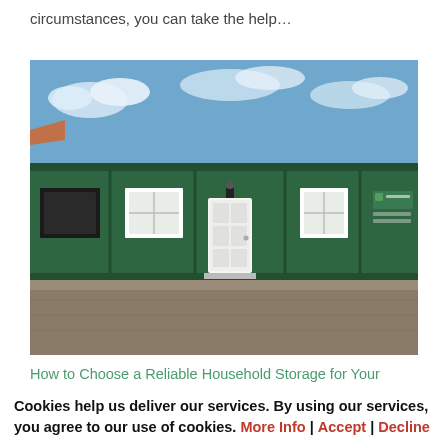circumstances, you can take the help...
[Figure (photo): A long green portable storage building/container with white windows and a white door in the center, parked on a gravel surface with a blue sky and clouds in the background.]
How to Choose a Reliable Household Storage for Your Belongings
by Baxter Storage | Jul 30, 2023 | Blog
Cookies help us deliver our services. By using our services, you agree to our use of cookies. More Info | Accept | Decline